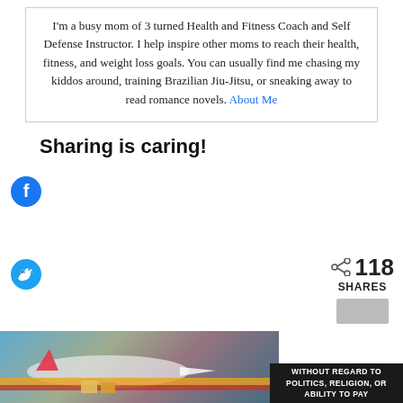I'm a busy mom of 3 turned Health and Fitness Coach and Self Defense Instructor. I help inspire other moms to reach their health, fitness, and weight loss goals. You can usually find me chasing my kiddos around, training Brazilian Jiu-Jitsu, or sneaking away to read romance novels. About Me
Sharing is caring!
[Figure (infographic): Facebook share icon (f logo in blue)]
[Figure (infographic): Twitter share icon (bird logo in blue)]
[Figure (infographic): Pinterest share icon (P logo in red/pink)]
118 SHARES
[Figure (photo): Advertisement banner showing an airplane being loaded with cargo, with overlay text: WITHOUT REGARD TO POLITICS, RELIGION, OR ABILITY TO PAY]